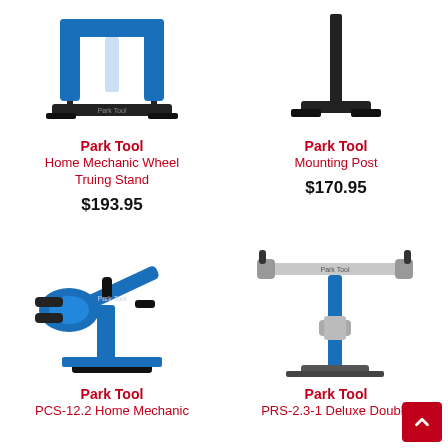[Figure (photo): Park Tool Home Mechanic Wheel Truing Stand - blue U-shaped frame with black base]
Park Tool
Home Mechanic Wheel Truing Stand
$193.95
[Figure (photo): Park Tool Mounting Post - black tall vertical post with flat base]
Park Tool
Mounting Post
$170.95
[Figure (photo): Park Tool PCS-12.2 Home Mechanic bicycle repair stand - blue and black clamp stand]
Park Tool
PCS-12.2 Home Mechanic
[Figure (photo): Park Tool PRS-2.3-1 Deluxe Double arm repair stand - silver and blue floor stand]
Park Tool
PRS-2.3-1 Deluxe Double